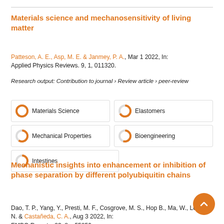Materials science and mechanosensitivity of living matter
Patteson, A. E., Asp, M. E. & Janmey, P. A., Mar 1 2022, In: Applied Physics Reviews. 9, 1, 011320.
Research output: Contribution to journal › Review article › peer-review
[Figure (infographic): Keyword badges with donut-style icons: Materials Science (100%), Elastomers (67%), Mechanical Properties (60%), Bioengineering (55%), Intestines (45%)]
Mechanistic insights into enhancement or inhibition of phase separation by different polyubiquitin chains
Dao, T. P., Yang, Y., Presti, M. F., Cosgrove, M. S., Hop B., Ma, W., Loh, S. N. & Castañeda, C. A., Aug 3 2022, In: EMBO Reports. 23, 8, e55056